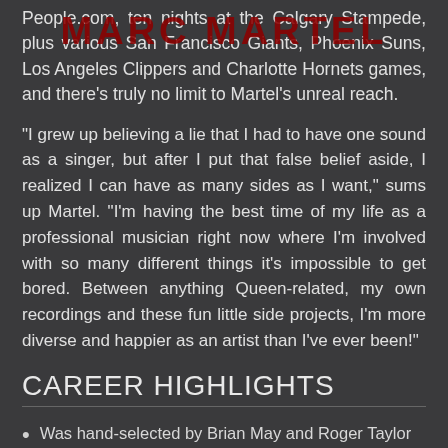MARC MARTEL
People.com, ten nights at the Calgary Stampede, plus various San Francisco Giants, Phoenix Suns, Los Angeles Clippers and Charlotte Hornets games, and there's truly no limit to Martel's unreal reach.
“I grew up believing a lie that I had to have one sound as a singer, but after I put that false belief aside, I realized I can have as many sides as I want,” sums up Martel. “I’m having the best time of my life as a professional musician right now where I’m involved with so many different things it's impossible to get bored. Between anything Queen-related, my own recordings and these fun little side projects, I'm more diverse and happier as an artist than I've ever been!”
CAREER HIGHLIGHTS
Was hand-selected by Brian May and Roger Taylor of the legendary rock band, Queen, to front their official tribute, The Queen Extravaganza, and has done so since 2012